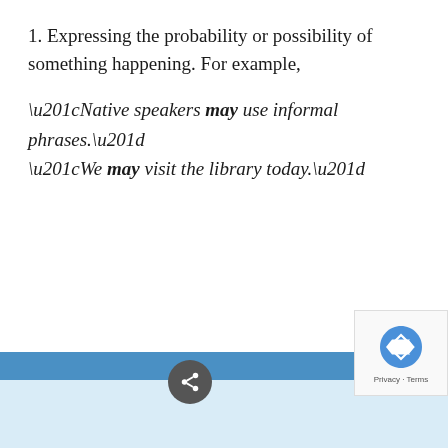1. Expressing the probability or possibility of something happening. For example,
“Native speakers may use informal phrases.” “We may visit the library today.”